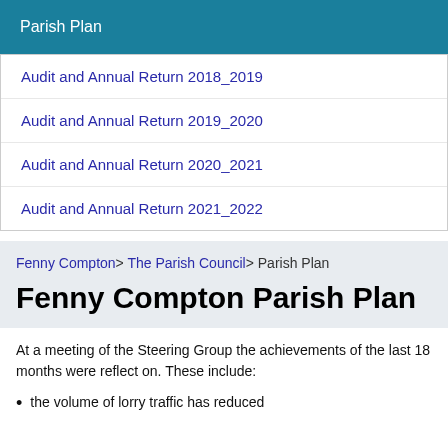Parish Plan
Audit and Annual Return 2018_2019
Audit and Annual Return 2019_2020
Audit and Annual Return 2020_2021
Audit and Annual Return 2021_2022
Fenny Compton> The Parish Council> Parish Plan
Fenny Compton Parish Plan
At a meeting of the Steering Group the achievements of the last 18 months were reflect on. These include:
the volume of lorry traffic has reduced